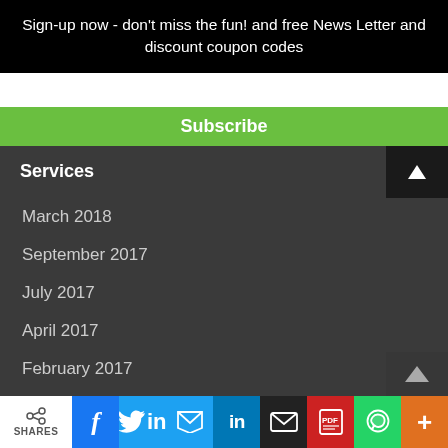Sign-up now - don't miss the fun! and free News Letter and discount coupon codes
Subscribe
Services
March 2018
September 2017
July 2017
April 2017
February 2017
July 2016
June 2016
November 2015
October 2015
SHARES | f | in | (email) | (pdf) | (whatsapp) | +